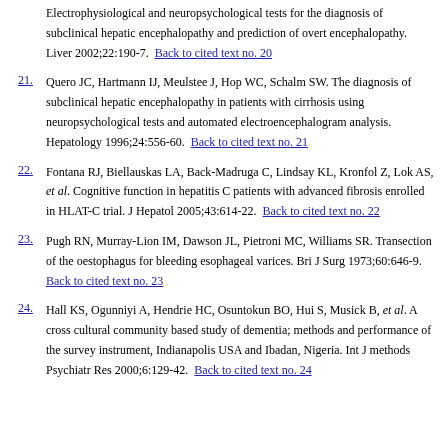Electrophysiological and neuropsychological tests for the diagnosis of subclinical hepatic encephalopathy and prediction of overt encephalopathy. Liver 2002;22:190-7.  Back to cited text no. 20
21. Quero JC, Hartmann IJ, Meulstee J, Hop WC, Schalm SW. The diagnosis of subclinical hepatic encephalopathy in patients with cirrhosis using neuropsychological tests and automated electroencephalogram analysis. Hepatology 1996;24:556-60.  Back to cited text no. 21
22. Fontana RJ, Biellauskas LA, Back-Madruga C, Lindsay KL, Kronfol Z, Lok AS, et al. Cognitive function in hepatitis C patients with advanced fibrosis enrolled in HLAT-C trial. J Hepatol 2005;43:614-22.  Back to cited text no. 22
23. Pugh RN, Murray-Lion IM, Dawson JL, Pietroni MC, Williams SR. Transection of the oestophagus for bleeding esophageal varices. Bri J Surg 1973;60:646-9.  Back to cited text no. 23
24. Hall KS, Ogunniyi A, Hendrie HC, Osuntokun BO, Hui S, Musick B, et al. A cross cultural community based study of dementia; methods and performance of the survey instrument, Indianapolis USA and Ibadan, Nigeria. Int J methods Psychiatr Res 2000;6:129-42.  Back to cited text no. 24